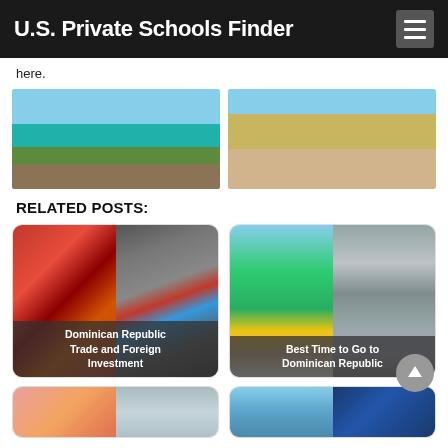U.S. Private Schools Finder
here.
[Figure (photo): Tropical resort with turquoise water and lush green vegetation]
[Figure (photo): Beach with palm trees and lounge chairs on sandy shore]
RELATED POSTS:
[Figure (photo): Dominican Republic Trade and Foreign Investment - two images showing tropical scene and crowd with flags]
[Figure (photo): Best Time to Go to Dominican Republic - beach with palms and cloudy sky]
[Figure (photo): Partial card - pink/orange and gray sky images]
[Figure (photo): Partial card - blue sky and deep blue images]